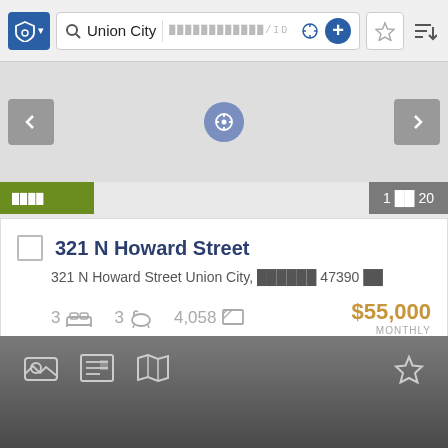[Figure (screenshot): Top toolbar with shield icon, search bar showing 'Union City', ID placeholder, crosshair icon, plus button, star button, and sort icon]
[Figure (screenshot): Map area with prev/next navigation arrows and a center location button]
█████
1 ██ 20
321 N Howard Street
321 N Howard Street Union City, ██████ 47390 ██
3  3  4,058  $55,000 MONTHLY
[Figure (screenshot): Bottom navigation bar with photo, list, map icons and star/favorites icon on dark gray gradient background]